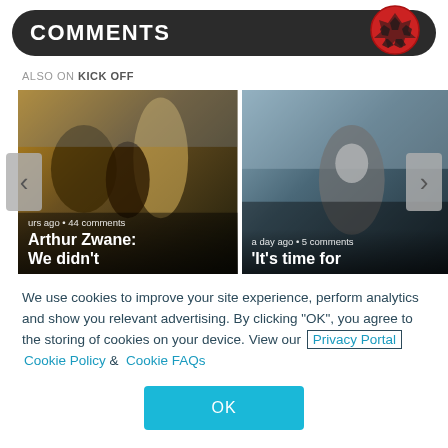COMMENTS
ALSO ON KICK OFF
[Figure (screenshot): Carousel of two sports articles. Left: photo of soccer players/dugout with text 'urs ago • 44 comments' and 'Arthur Zwane: We didn't'. Right: photo of goalkeeper celebrating with text 'a day ago • 5 comments' and 'It's time for'. Navigation arrows on left and right.]
We use cookies to improve your site experience, perform analytics and show you relevant advertising. By clicking "OK", you agree to the storing of cookies on your device. View our Privacy Portal Cookie Policy & Cookie FAQs
OK